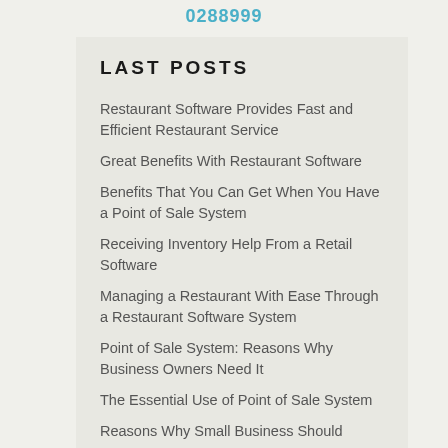0288999
LAST POSTS
Restaurant Software Provides Fast and Efficient Restaurant Service
Great Benefits With Restaurant Software
Benefits That You Can Get When You Have a Point of Sale System
Receiving Inventory Help From a Retail Software
Managing a Restaurant With Ease Through a Restaurant Software System
Point of Sale System: Reasons Why Business Owners Need It
The Essential Use of Point of Sale System
Reasons Why Small Business Should